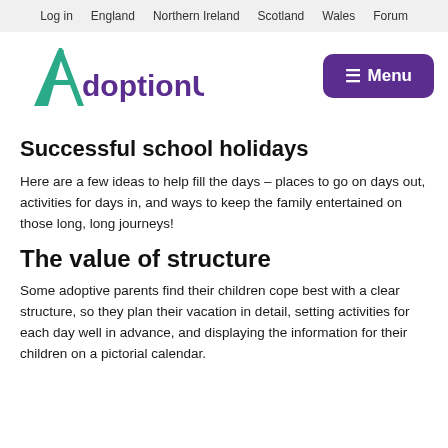Log in  England  Northern Ireland  Scotland  Wales  Forum
[Figure (logo): AdoptionUK logo with stylized A in teal/green and 'doptionUK' in purple]
≡ Menu
Successful school holidays
Here are a few ideas to help fill the days – places to go on days out, activities for days in, and ways to keep the family entertained on those long, long journeys!
The value of structure
Some adoptive parents find their children cope best with a clear structure, so they plan their vacation in detail, setting activities for each day well in advance, and displaying the information for their children on a pictorial calendar.